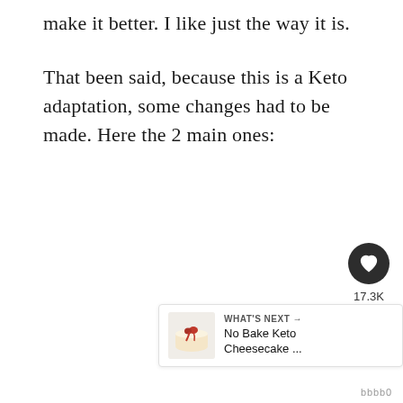make it better. I like just the way it is.
That been said, because this is a Keto adaptation, some changes had to be made. Here the 2 main ones:
[Figure (other): Social media floating action buttons: heart/like icon button (dark circle) with count 17.3K, and a share icon button (dark circle)]
[Figure (other): What's Next widget showing a small thumbnail photo of a cheesecake dessert with text 'WHAT'S NEXT → No Bake Keto Cheesecake ...']
bbbb0